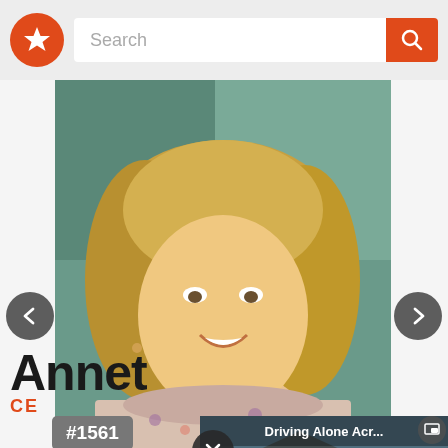[Figure (screenshot): App header bar with orange star logo and search bar with orange search button]
[Figure (photo): Portrait photo of a smiling blonde woman with long layered hair wearing a floral blouse, with left and right navigation arrows and a close (X) button overlay]
[Figure (screenshot): Video overlay thumbnail showing a temple scene labeled 'Driving Alone Acr...' with a play button and PiP button]
Annett
CE (CELEBRITY)
#1561
Boost